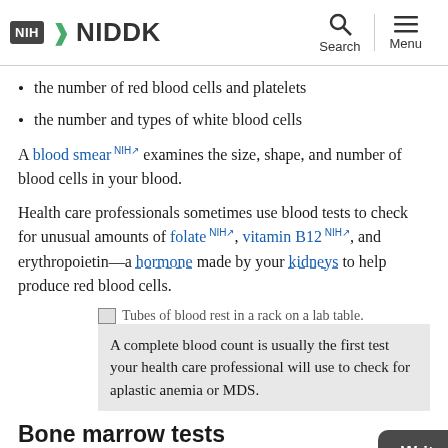NIH NIDDK | Search | Menu
the number of red blood cells and platelets
the number and types of white blood cells
A blood smear NIH examines the size, shape, and number of blood cells in your blood.
Health care professionals sometimes use blood tests to check for unusual amounts of folate NIH, vitamin B12 NIH, and erythropoietin—a hormone made by your kidneys to help produce red blood cells.
[Figure (photo): Tubes of blood rest in a rack on a lab table.]
A complete blood count is usually the first test your health care professional will use to check for aplastic anemia or MDS.
Bone marrow tests